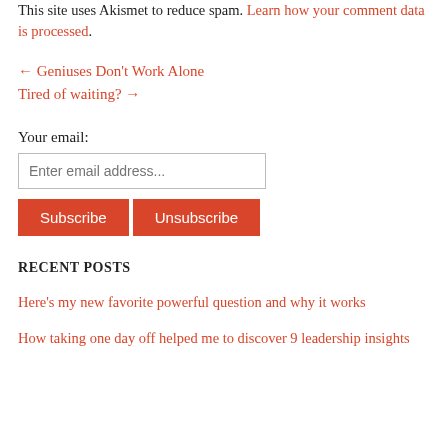This site uses Akismet to reduce spam. Learn how your comment data is processed.
← Geniuses Don't Work Alone
Tired of waiting? →
Your email:
Enter email address...
Subscribe
Unsubscribe
RECENT POSTS
Here's my new favorite powerful question and why it works
How taking one day off helped me to discover 9 leadership insights